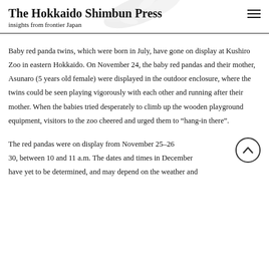The Hokkaido Shimbun Press
insights from frontier Japan
Baby red panda twins, which were born in July, have gone on display at Kushiro Zoo in eastern Hokkaido. On November 24, the baby red pandas and their mother, Asunaro (5 years old female) were displayed in the outdoor enclosure, where the twins could be seen playing vigorously with each other and running after their mother. When the babies tried desperately to climb up the wooden playground equipment, visitors to the zoo cheered and urged them to “hang-in there”.
The red pandas were on display from November 25–26 30, between 10 and 11 a.m. The dates and times in December have yet to be determined, and may depend on the weather and